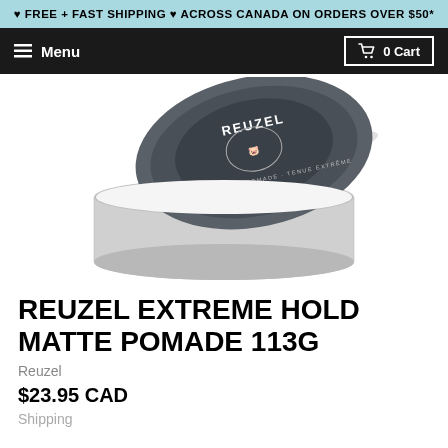♥ FREE + FAST SHIPPING ♥ ACROSS CANADA ON ORDERS OVER $50*
≡ Menu   🛒 0 Cart
[Figure (photo): Product photo of Reuzel Extreme Hold Matte Pomade 113g tin, showing an open tin with white pomade and the grey lid displaying the Reuzel pig logo]
REUZEL EXTREME HOLD MATTE POMADE 113G
Reuzel
$23.95 CAD
Shipping